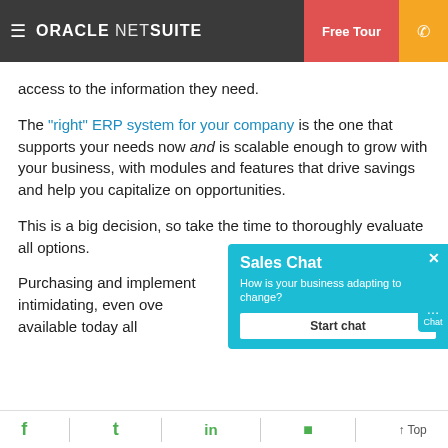Oracle NetSuite | Free Tour | Phone
access to the information they need.
The “right” ERP system for your company is the one that supports your needs now and is scalable enough to grow with your business, with modules and features that drive savings and help you capitalize on opportunities.
This is a big decision, so take the time to thoroughly evaluate all options.
Purchasing and implementing an ERP system used to be intimidating, even overwhelming. But modern ERP solutions available today all
[Figure (screenshot): Sales Chat popup widget with cyan background. Title: Sales Chat. Subtitle: How is your business adapting to change? Button: Start chat.]
Facebook | Twitter | LinkedIn | Flipboard | Top